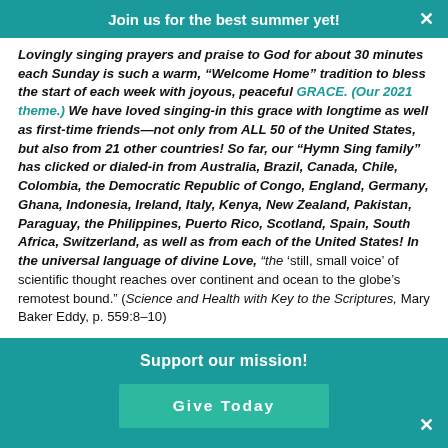Join us for the best summer yet!
Lovingly singing prayers and praise to God for about 30 minutes each Sunday is such a warm, “Welcome Home” tradition to bless the start of each week with joyous, peaceful GRACE. (Our 2021 theme.) We have loved singing-in this grace with longtime as well as first-time friends—not only from ALL 50 of the United States, but also from 21 other countries! So far, our “Hymn Sing family” has clicked or dialed-in from Australia, Brazil, Canada, Chile, Colombia, the Democratic Republic of Congo, England, Germany, Ghana, Indonesia, Ireland, Italy, Kenya, New Zealand, Pakistan, Paraguay, the Philippines, Puerto Rico, Scotland, Spain, South Africa, Switzerland, as well as from each of the United States! In the universal language of divine Love, “the ‘still, small voice’ of scientific thought reaches over continent and ocean to the globe’s remotest bound.” (Science and Health with Key to the Scriptures, Mary Baker Eddy, p. 559:8–10)
Support our mission!
Give Today